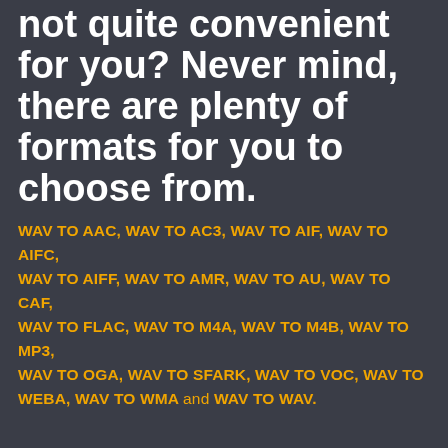WAV to WAV conversion is not quite convenient for you? Never mind, there are plenty of formats for you to choose from.
WAV TO AAC, WAV TO AC3, WAV TO AIF, WAV TO AIFC, WAV TO AIFF, WAV TO AMR, WAV TO AU, WAV TO CAF, WAV TO FLAC, WAV TO M4A, WAV TO M4B, WAV TO MP3, WAV TO OGA, WAV TO SFARK, WAV TO VOC, WAV TO WEBA, WAV TO WMA and WAV TO WAV.
If the WAV is your starting one, you can choose one of